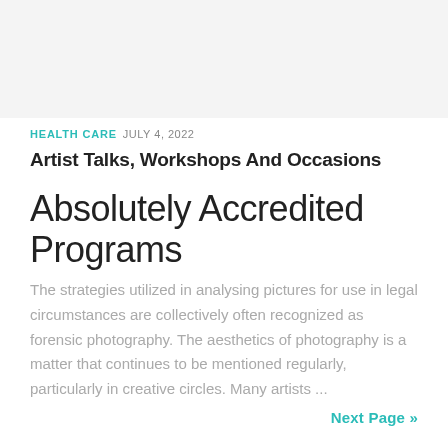[Figure (other): Light gray banner/header image placeholder at top of page]
HEALTH CARE  JULY 4, 2022
Artist Talks, Workshops And Occasions
Absolutely Accredited Programs
The strategies utilized in analysing pictures for use in legal circumstances are collectively often recognized as forensic photography. The aesthetics of photography is a matter that continues to be mentioned regularly, particularly in creative circles. Many artists ...
Next Page »